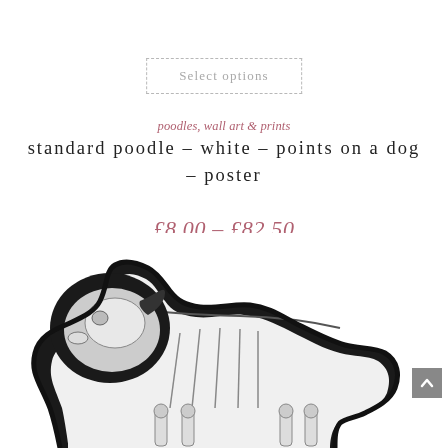Select options
poodles, wall art & prints
standard poodle – white – points on a dog – poster
£8.00 – £82.50
[Figure (illustration): Illustration of a standard poodle (white) showing skeletal anatomy / points on a dog, rendered in black and white with thick black outline silhouette, partially cropped at bottom of page.]